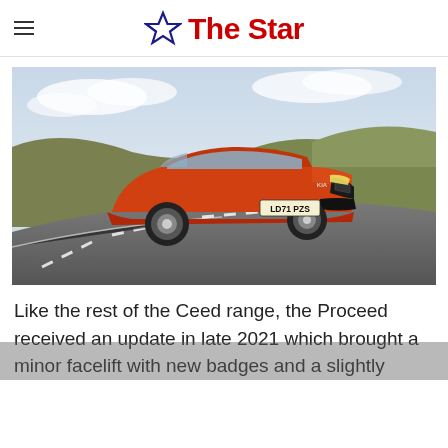The Star
[Figure (photo): Orange Kia Proceed GT driving on a road through moorland landscape, registration plate LD71 PZS, motion blur on background]
Like the rest of the Ceed range, the Proceed received an update in late 2021 which brought a minor facelift with new badges and a slightly